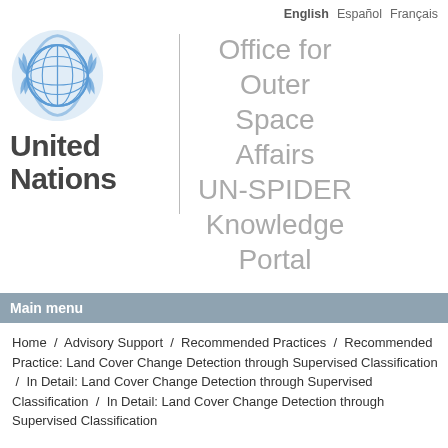English  Español  Français
[Figure (logo): United Nations emblem logo with globe and olive branches, blue color scheme]
United Nations
Office for Outer Space Affairs UN-SPIDER Knowledge Portal
Main menu
Home / Advisory Support / Recommended Practices / Recommended Practice: Land Cover Change Detection through Supervised Classification / In Detail: Land Cover Change Detection through Supervised Classification / In Detail: Land Cover Change Detection through Supervised Classification